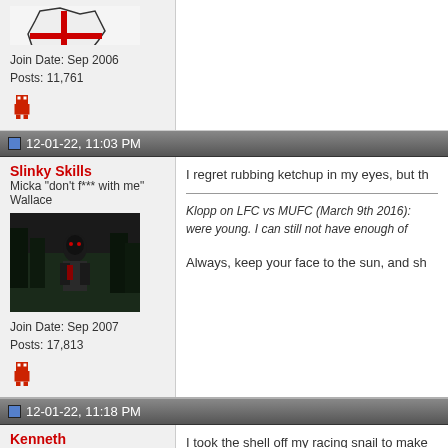[Figure (illustration): England flag map avatar (partial, top of page)]
Join Date: Sep 2006
Posts: 11,761
[Figure (illustration): Small pixel art red character icon]
12-01-22, 11:03 PM
Slinky Skills
Micka "don't f*** with me" Wallace
[Figure (photo): Avatar image of a person in dark clothing in a forest]
Join Date: Sep 2007
Posts: 17,813
[Figure (illustration): Small pixel art red character icon]
I regret rubbing ketchup in my eyes, but th
Klopp on LFC vs MUFC (March 9th 2016): were young. I can still not have enough of
Always, keep your face to the sun, and sh
12-01-22, 11:18 PM
Kenneth
Dan Ashcroft
I took the shell off my racing snail to make